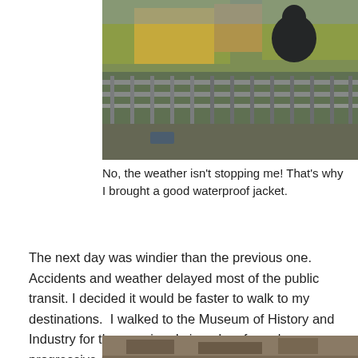[Figure (photo): Person wearing a dark waterproof jacket standing on a bridge or railing with autumn trees in background, overcast/rainy weather]
No, the weather isn't stopping me! That's why I brought a good waterproof jacket.
The next day was windier than the previous one.  Accidents and weather delayed most of the public transit. I decided it would be faster to walk to my destinations.  I walked to the Museum of History and Industry for the morning. I signed up for a dressy progressive dinner in the afternoon.  I wore my black technical pants with my grey mesh sweater.  I added my Uniqlo airism tank underneath for warmth. I used my rain pants to stay dry.
[Figure (photo): Partial photo visible at bottom of page, appears to be an outdoor scene]